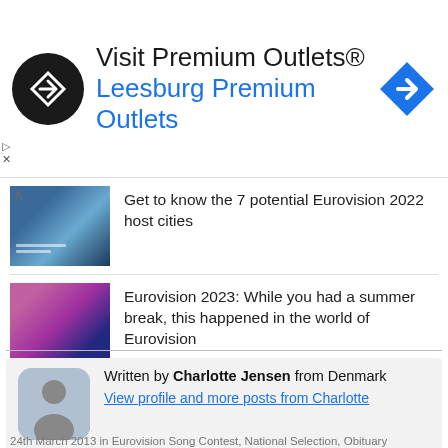[Figure (infographic): Advertisement banner for Visit Premium Outlets - Leesburg Premium Outlets, with circular black logo with arrow icon, blue navigation arrow icon on right]
[Figure (photo): Thumbnail of Eurovision 2022 host cities article, showing a blue-toned venue image]
Get to know the 7 potential Eurovision 2022 host cities
[Figure (photo): Thumbnail of Eurovision 2023 summer break article, showing a performer in pink hat]
Eurovision 2023: While you had a summer break, this happened in the world of Eurovision
Written by Charlotte Jensen from Denmark
View profile and more posts from Charlotte
24th March 2013 in Eurovision Song Contest, National Selection, Obituary